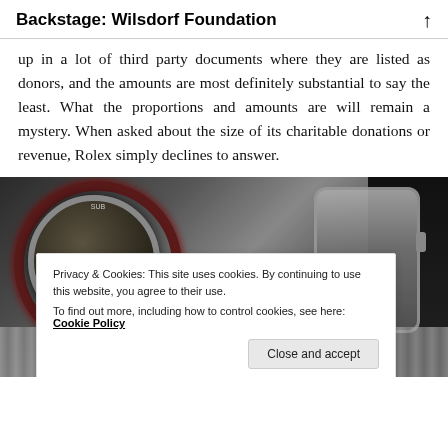Backstage: Wilsdorf Foundation
up in a lot of third party documents where they are listed as donors, and the amounts are most definitely substantial to say the least. What the proportions and amounts are will remain a mystery. When asked about the size of its charitable donations or revenue, Rolex simply declines to answer.
[Figure (photo): Close-up photograph of luxury watches including what appears to be a Rolex with a dark dial and red/maroon bezel, along with a silver watch, and watch bracelets visible in background. Dark background.]
Privacy & Cookies: This site uses cookies. By continuing to use this website, you agree to their use.
To find out more, including how to control cookies, see here: Cookie Policy
Close and accept